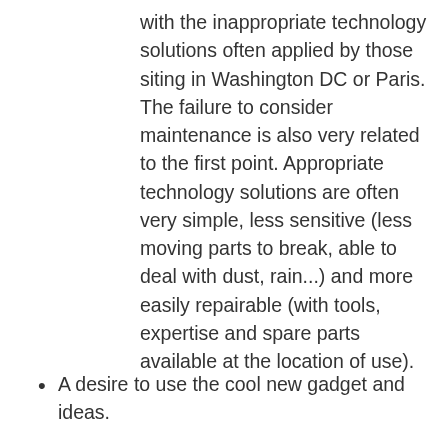with the inappropriate technology solutions often applied by those siting in Washington DC or Paris. The failure to consider maintenance is also very related to the first point. Appropriate technology solutions are often very simple, less sensitive (less moving parts to break, able to deal with dust, rain...) and more easily repairable (with tools, expertise and spare parts available at the location of use).
A desire to use the cool new gadget and ideas.